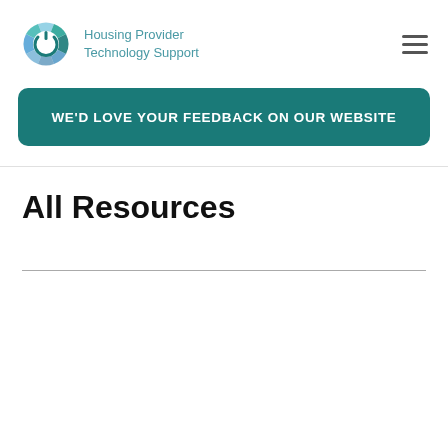Housing Provider Technology Support
WE'D LOVE YOUR FEEDBACK ON OUR WEBSITE
All Resources